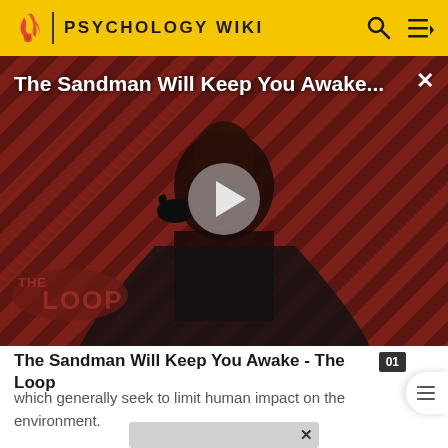PSYCHOLOGY WIKI
[Figure (screenshot): Video thumbnail showing a dark-cloaked figure against a red diagonal striped background with 'THE LOOP' watermark. A play button is centered on the image. Title overlay reads 'The Sandman Will Keep You Awake...' with a close (X) button in top right.]
The Sandman Will Keep You Awake - The Loop
which generally seek to limit human impact on the environment.
[Figure (other): Partial advertisement banner at bottom of page with close X button]